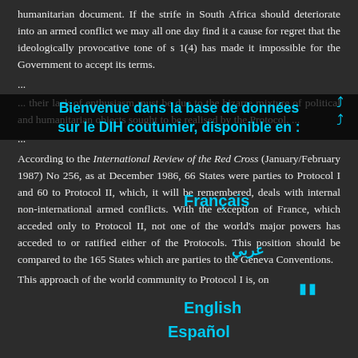humanitarian document. If the strife in South Africa should deteriorate into an armed conflict we may all one day find it a cause for regret that the ideologically provocative tone of s 1(4) has made it impossible for the Government to accept its terms.
...
... their lack of enthusiasm must be due to the bizarre mixture of political and humanitarian objects sought to be realised by the Protocol. ...
...
According to the International Review of the Red Cross (January/February 1987) No 256, as at December 1986, 66 States were parties to Protocol I and 60 to Protocol II, which, it will be remembered, deals with internal non-international armed conflicts. With the exception of France, which acceded only to Protocol II, not one of the world's major powers has acceded to or ratified either of the Protocols. This position should be compared to the 165 States which are parties to the Geneva Conventions.
This approach of the world community to Protocol I is, on